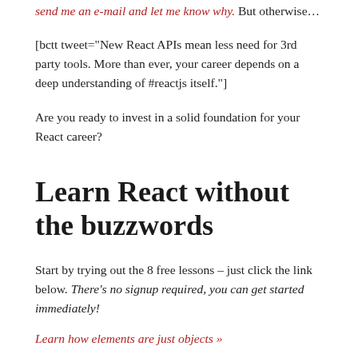send me an e-mail and let me know why. But otherwise…
[bctt tweet="New React APIs mean less need for 3rd party tools. More than ever, your career depends on a deep understanding of #reactjs itself."]
Are you ready to invest in a solid foundation for your React career?
Learn React without the buzzwords
Start by trying out the 8 free lessons – just click the link below. There's no signup required, you can get started immediately!
Learn how elements are just objects »